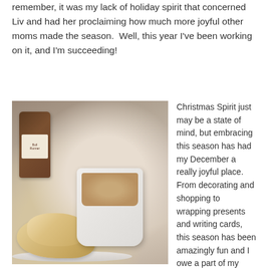remember, it was my lack of holiday spirit that concerned Liv and had her proclaiming how much more joyful other moms made the season.  Well, this year I've been working on it, and I'm succeeding!
[Figure (photo): Photo of a white coffee mug with latte, slices of bread/biscotti on a plate, and a bottle of spirits in the background on a wooden table.]
Christmas Spirit just may be a state of mind, but embracing this season has had my December a really joyful place.  From decorating and shopping to  wrapping presents and writing cards, this season has been amazingly fun and I owe a part of my joyousness to Kim and Jen for setting up #ChristmasWeek and including me in the festivities.

Reading the cheerful and jolly posts from this